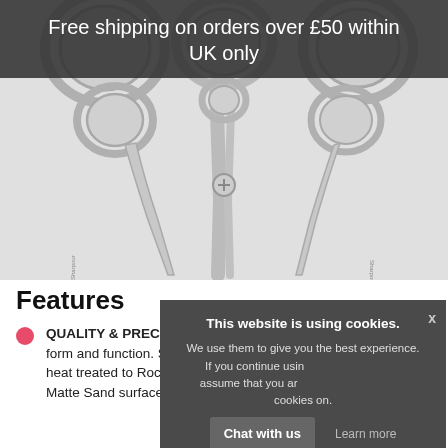Free shipping on orders over £50 within UK only
[Figure (photo): Three professional hair cutting scissors displayed side by side on a light gray background, showing handles and blades in silver/chrome finish with Matte Sand surface.]
Features
QUALITY & PRECISION - Sharpour scissors combine both form and function. Sharpour scissors are ice hardened, only and heat treated to Rockwell hardness of 63. Finished in a smooth Matte Sand surface that
This website is using cookies. We use them to give you the best experience. If you continue using our website, we'll assume that you are happy to receive all cookies on. Continue Learn more
Chat with us
Continue